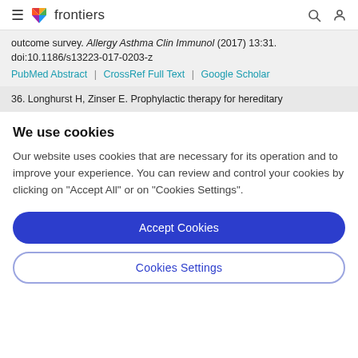frontiers
outcome survey. Allergy Asthma Clin Immunol (2017) 13:31. doi:10.1186/s13223-017-0203-z
PubMed Abstract | CrossRef Full Text | Google Scholar
36. Longhurst H, Zinser E. Prophylactic therapy for hereditary
We use cookies
Our website uses cookies that are necessary for its operation and to improve your experience. You can review and control your cookies by clicking on "Accept All" or on "Cookies Settings".
Accept Cookies
Cookies Settings